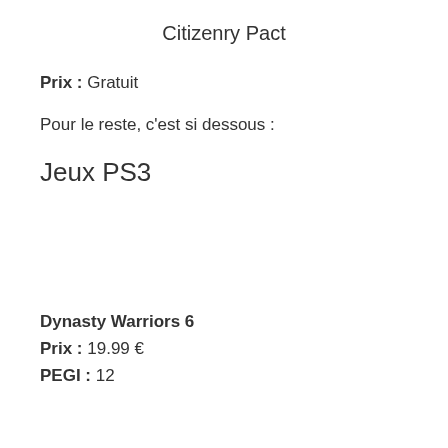Citizenry Pact
Prix : Gratuit
Pour le reste, c'est si dessous :
Jeux PS3
Dynasty Warriors 6
Prix : 19.99 €
PEGI : 12